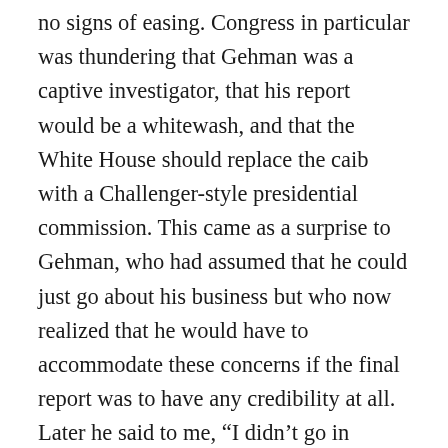no signs of easing. Congress in particular was thundering that Gehman was a captive investigator, that his report would be a whitewash, and that the White House should replace the caib with a Challenger-style presidential commission. This came as a surprise to Gehman, who had assumed that he could just go about his business but who now realized that he would have to accommodate these concerns if the final report was to have any credibility at all. Later he said to me, “I didn’t go in thinking about it, but as I began to hear the independence thing—‘You can’t have a panel appointed by NASA investigating itself!’—I realized I’d better deal with Congress.” He did this at first mainly by listening on the phone. “They